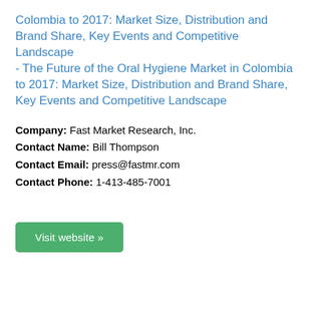Colombia to 2017: Market Size, Distribution and Brand Share, Key Events and Competitive Landscape - The Future of the Oral Hygiene Market in Colombia to 2017: Market Size, Distribution and Brand Share, Key Events and Competitive Landscape
Company: Fast Market Research, Inc.
Contact Name: Bill Thompson
Contact Email: press@fastmr.com
Contact Phone: 1-413-485-7001
Visit website »